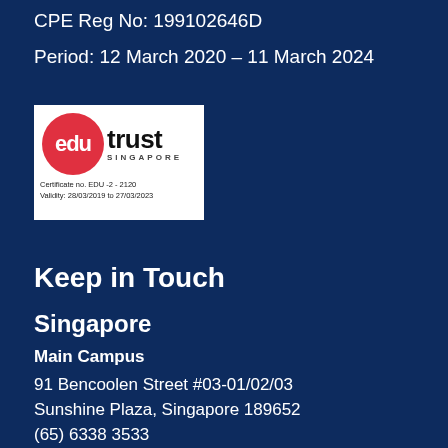CPE Reg No: 199102646D
Period: 12 March 2020 – 11 March 2024
[Figure (logo): EduTrust Singapore logo with red circle containing 'edu' text, 'trust' in black, 'SINGAPORE' in small caps. Certificate no. EDU-2-2120, Validity: 28/03/2019 to 27/03/2023]
Keep in Touch
Singapore
Main Campus
91 Bencoolen Street #03-01/02/03
Sunshine Plaza, Singapore 189652
(65) 6338 3533
admin@eis.edu.sg